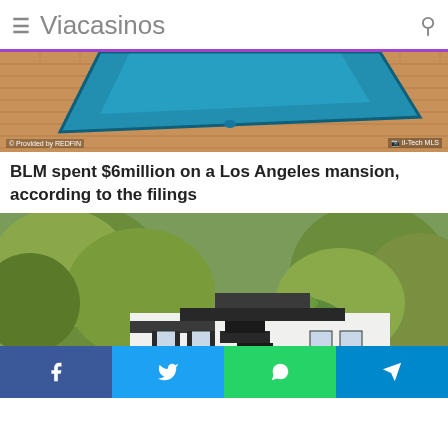Viacasinos
[Figure (photo): Aerial view of a swimming pool with terracotta brick patio surround. Watermark: © Provided by REDFIN. Logo: iI-Tech MLS bottom right.]
BLM spent $6million on a Los Angeles mansion, according to the filings
[Figure (photo): Aerial drone photo of a large white colonial-style mansion surrounded by tall trees and lush green landscaping in Los Angeles.]
Facebook | Twitter | WhatsApp | Telegram share buttons